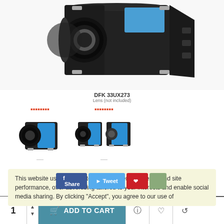[Figure (photo): Large close-up product photo of DFK 33UX273 industrial camera in black casing with lens mount visible, shot from above-front angle]
DFK 33UX273
Lens (not included)
[Figure (photo): Thumbnail of DFK 33UX273 camera with blue and black body, front view with lens attached]
[Figure (photo): Thumbnail of two DFK 33UX273 cameras side by side, one with lens and one without]
This website uses cookies to improve user experience and site performance, offer advertising tailored to your interests and enable social media sharing. By clicking “Accept”, you agree to our use of
1  ADD TO CART